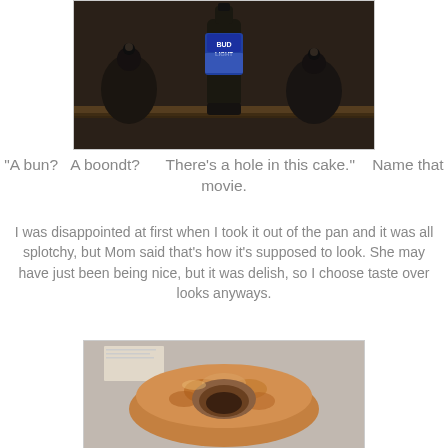[Figure (photo): A dark photo showing a Bud Light beer bottle on a shelf with dark ceramic jars in the background]
"A bun?   A boondt?      There's a hole in this cake."    Name that movie.
I was disappointed at first when I took it out of the pan and it was all splotchy, but Mom said that's how it's supposed to look. She may have just been being nice, but it was delish, so I choose taste over looks anyways.
[Figure (photo): A photo of a bundt cake on a granite countertop, showing a golden-brown baked cake with a hole in the center, slightly irregular and splotchy appearance]